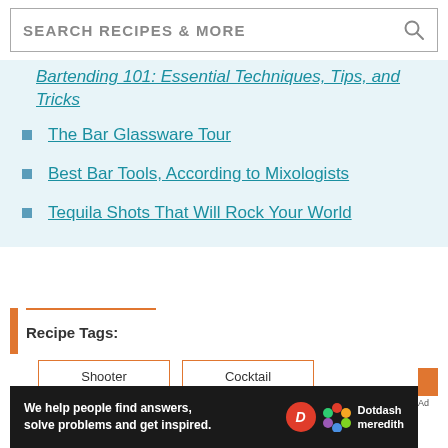SEARCH RECIPES & MORE
Bartending 101: Essential Techniques, Tips, and Tricks
The Bar Glassware Tour
Best Bar Tools, According to Mixologists
Tequila Shots That Will Rock Your World
Recipe Tags:
Shooter
Cocktail
Mexican
Party
We help people find answers, solve problems and get inspired. Dotdash meredith